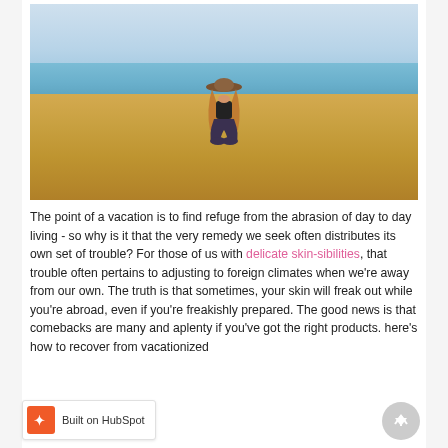[Figure (photo): A woman with long hair wearing a hat and dark clothing sits cross-legged on a sandy beach, facing away from the camera toward a turquoise ocean under a light sky.]
The point of a vacation is to find refuge from the abrasion of day to day living - so why is it that the very remedy we seek often distributes its own set of trouble? For those of us with delicate skin-sibilities, that trouble often pertains to adjusting to foreign climates when we're away from our own. The truth is that sometimes, your skin will freak out while you're abroad, even if you're freakishly prepared. The good news is that comebacks are many and aplenty if you've got the right products. here's how to recover from vacationized